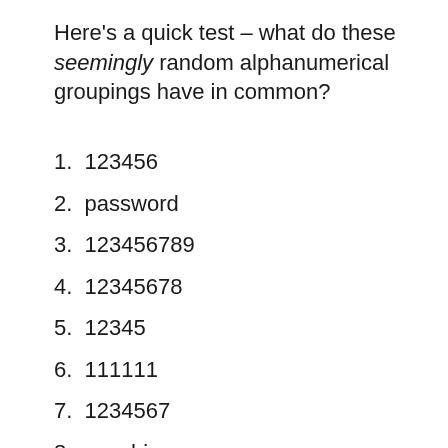Here's a quick test – what do these seemingly random alphanumerical groupings have in common?
1. 123456
2. password
3. 123456789
4. 12345678
5. 12345
6. 111111
7. 1234567
8. sunshine
9. qwerty